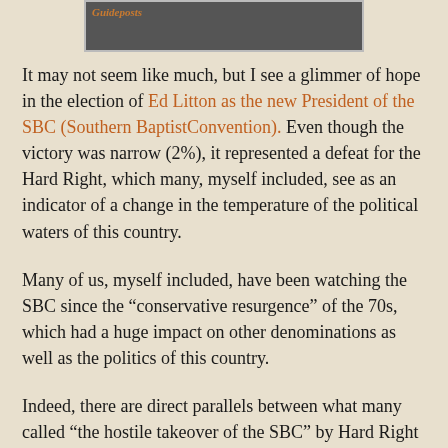[Figure (photo): Partial image of a dark background with text 'Guideposts' visible at top, framed with a border.]
It may not seem like much, but I see a glimmer of hope in the election of Ed Litton as the new President of the SBC (Southern BaptistConvention). Even though the victory was narrow (2%), it represented a defeat for the Hard Right, which many, myself included, see as an indicator of a change in the temperature of the political waters of this country.
Many of us, myself included, have been watching the SBC since the “conservative resurgence” of the 70s, which had a huge impact on other denominations as well as the politics of this country.
Indeed, there are direct parallels between what many called “the hostile takeover of the SBC” by Hard Right Conservatives and the attempted coup of the Mainline Protestant denominations – including The Episcopal Church – by the IRD (the Institute on Religion and Democracy) a political think tank aligned with far-right conservative political causes, and infused with cash from Howard Ahmanson, heir to the Home Savings and Loan fortune